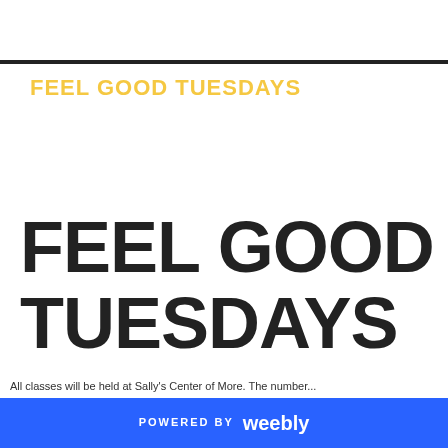FEEL GOOD TUESDAYS
FEEL GOOD TUESDAYS
All classes will be held at Sally's Center of More. The number...
POWERED BY weebly